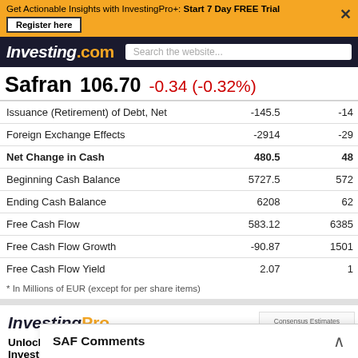Get Actionable Insights with InvestingPro+: Start 7 Day FREE Trial
Investing.com | Search the website...
Safran 106.70 -0.34 (-0.32%)
|  | Col1 | Col2 |
| --- | --- | --- |
| Issuance (Retirement) of Debt, Net | -145.5 | -14 |
| Foreign Exchange Effects | -2914 | -29 |
| Net Change in Cash | 480.5 | 48 |
| Beginning Cash Balance | 5727.5 | 572 |
| Ending Cash Balance | 6208 | 62 |
| Free Cash Flow | 583.12 | 6385 |
| Free Cash Flow Growth | -90.87 | 1501 |
| Free Cash Flow Yield | 2.07 | 1 |
* In Millions of EUR (except for per share items)
[Figure (screenshot): InvestingPro section with logo, unlock access text, consensus estimates panel, and SAF Comments overlay bar]
Unlock access to over 1000 metrics with InvestingPro
View advanced ins...
SAF Comments ^